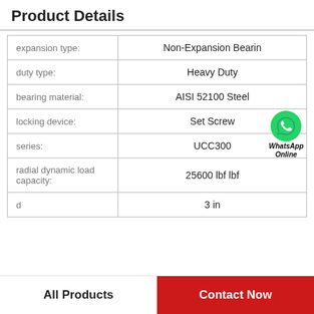Product Details
| Property | Value |
| --- | --- |
| expansion type: | Non-Expansion Bearin |
| duty type: | Heavy Duty |
| bearing material: | AISI 52100 Steel |
| locking device: | Set Screw |
| series: | UCC300 |
| radial dynamic load capacity: | 25600 lbf lbf |
| d | 3 in |
[Figure (logo): WhatsApp Online green circle phone icon with text WhatsApp Online]
All Products
Contact Now